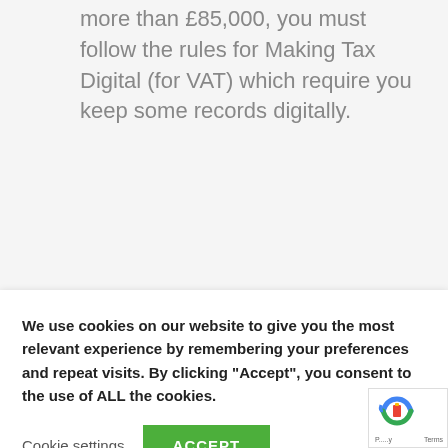more than £85,000, you must follow the rules for Making Tax Digital (for VAT) which require you keep some records digitally.
We use cookies on our website to give you the most relevant experience by remembering your preferences and repeat visits. By clicking "Accept", you consent to the use of ALL the cookies.
Cookie settings
ACCEPT
any EU purchases or sales if you trade with EU countries.
When it comes to writing off bad debts (of more than 6 months old),